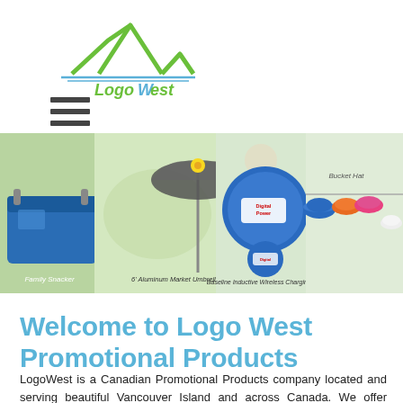[Figure (logo): LogoWest company logo with green mountain peaks and horizontal lines, text 'LogoWest' below in green italic]
[Figure (illustration): Hamburger menu icon with three horizontal dark bars]
[Figure (photo): Promotional products banner showing Family Snacker cooler bag, 6' Aluminum Market Umbrella, Digital Power wireless charging pad, Bucket Hat, and colorful bucket hats hanging on a line, against an outdoor background]
Welcome to Logo West Promotional Products
LogoWest is a Canadian Promotional Products company located and serving beautiful Vancouver Island and across Canada. We offer thousands of custom imprinted corporate gifts, clothing, and